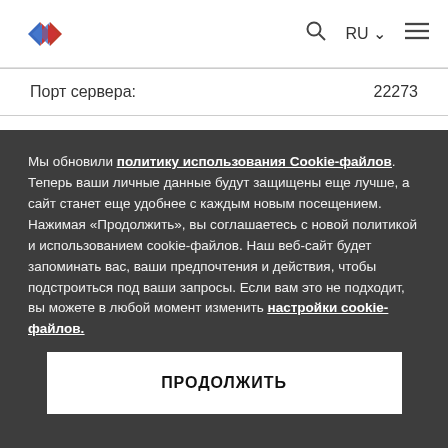[Figure (logo): Diamond-shaped logo with blue and red halves]
| Порт сервера: | 22273 |
Мы обновили политику использования Cookie-файлов. Теперь ваши личные данные будут защищены еще лучше, а сайт станет еще удобнее с каждым новым посещением. Нажимая «Продолжить», вы соглашаетесь с новой политикой и использованием cookie-файлов. Наш веб-сайт будет запоминать вас, ваши предпочтения и действия, чтобы подстроиться под ваши запросы. Если вам это не подходит, вы можете в любой момент изменить настройки cookie-файлов.
ПРОДОЛЖИТЬ